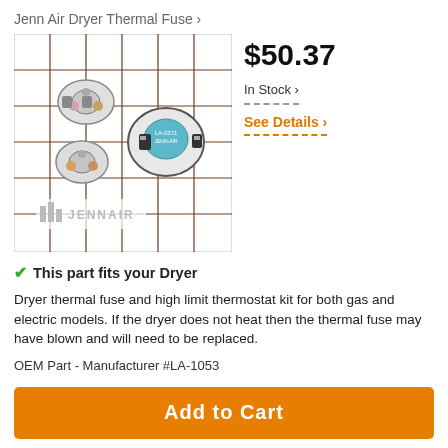Jenn Air Dryer Thermal Fuse ›
[Figure (photo): Product photo of Jenn Air dryer thermal fuse and high limit thermostat kit, showing two circular thermostat components and a thermal fuse on a grid background with Jenn Air logo]
$50.37
In Stock ›
See Details ›
✓ This part fits your Dryer
Dryer thermal fuse and high limit thermostat kit for both gas and electric models. If the dryer does not heat then the thermal fuse may have blown and will need to be replaced.
OEM Part - Manufacturer #LA-1053
Add to Cart